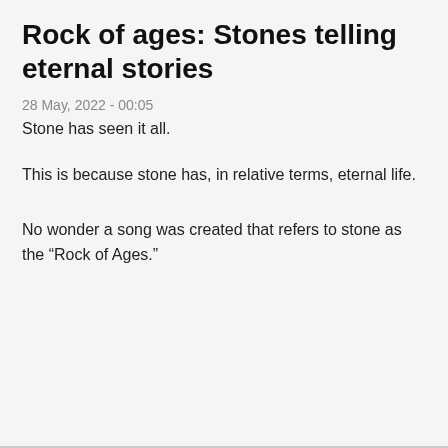Rock of ages: Stones telling eternal stories
28 May, 2022 - 00:05
Stone has seen it all.
This is because stone has, in relative terms, eternal life.
No wonder a song was created that refers to stone as the “Rock of Ages.”